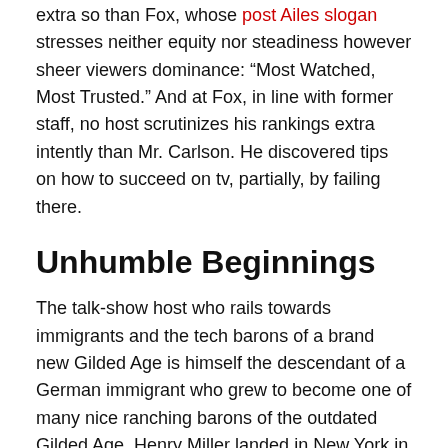extra so than Fox, whose post Ailes slogan stresses neither equity nor steadiness however sheer viewers dominance: “Most Watched, Most Trusted.” And at Fox, in line with former staff, no host scrutinizes his rankings extra intently than Mr. Carlson. He discovered tips on how to succeed on tv, partially, by failing there.
Unhumble Beginnings
The talk-show host who rails towards immigrants and the tech barons of a brand new Gilded Age is himself the descendant of a German immigrant who grew to become one of many nice ranching barons of the outdated Gilded Age. Henry Miller landed in New York in 1850 and constructed a profitable butcher enterprise in San Francisco; together with a associate, he went on to assemble a land empire spanning three states. They obtained some parcels just by bribing authorities officers.